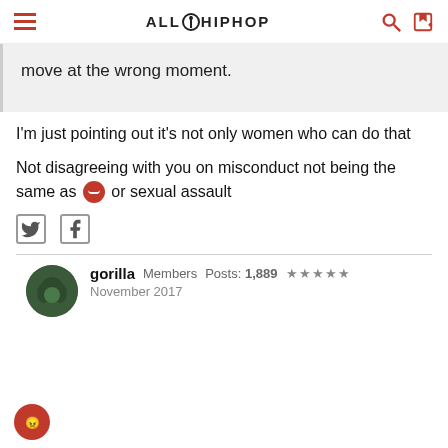ALLHIPHOP
move at the wrong moment.
I'm just pointing out it's not only women who can do that
Not disagreeing with you on misconduct not being the same as 😠 or sexual assault
gorilla  Members  Posts: 1,889  ★★★★★  November 2017